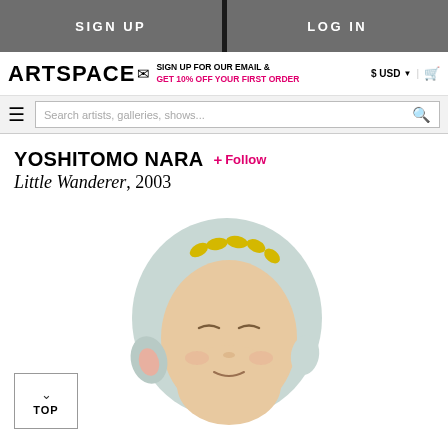SIGN UP   LOG IN
ARTSPACE  SIGN UP FOR OUR EMAIL & GET 10% OFF YOUR FIRST ORDER  $ USD  |  cart
Search artists, galleries, shows...
YOSHITOMO NARA  + Follow
Little Wanderer, 2003
[Figure (photo): Ceramic sculpture of a round-headed child figure wearing a light blue hood, with yellow hair visible at top, closed eyes and a gentle expression, light peach skin tone. The sculpture is shown from slightly above on a white background.]